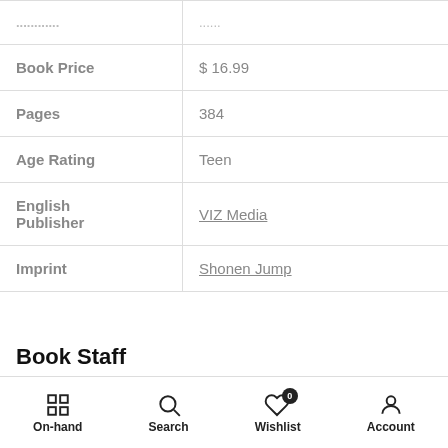| Attribute | Value |
| --- | --- |
| ... | ... |
| Book Price | $ 16.99 |
| Pages | 384 |
| Age Rating | Teen |
| English Publisher | VIZ Media |
| Imprint | Shonen Jump |
Book Staff
Thank the staff for their hard work in producing this manga. Hover the bolded text for more information.
On-hand  Search  Wishlist (0)  Account